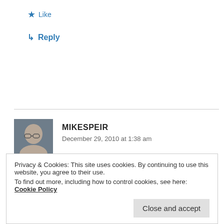★ Like
↳ Reply
[Figure (photo): Avatar/profile photo of Mike Speir, an older man with glasses]
MIKESPEIR
December 29, 2010 at 1:38 am
We carnivores are probably going to burn in Hell
Privacy & Cookies: This site uses cookies. By continuing to use this website, you agree to their use.
To find out more, including how to control cookies, see here: Cookie Policy
Close and accept